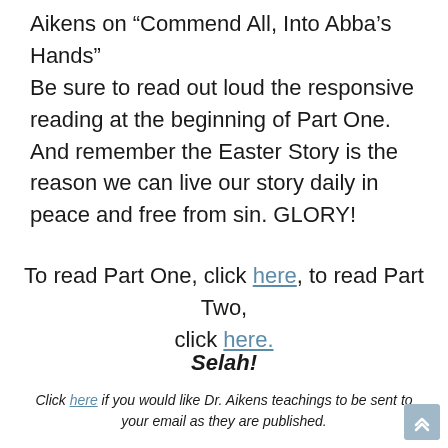Aikens on “Commend All, Into Abba’s Hands” Be sure to read out loud the responsive reading at the beginning of Part One. And remember the Easter Story is the reason we can live our story daily in peace and free from sin. GLORY!
To read Part One, click here, to read Part Two, click here.
Selah!
Click here if you would like Dr. Aikens teachings to be sent to your email as they are published.